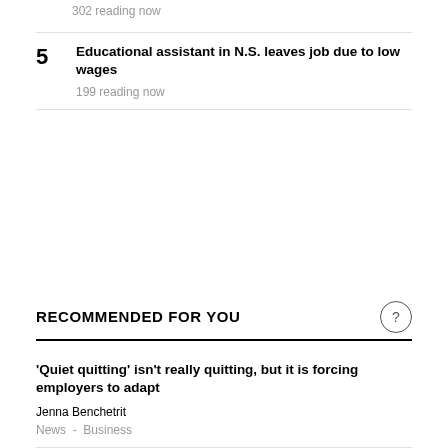302 reading now
5 Educational assistant in N.S. leaves job due to low wages
199 reading now
RECOMMENDED FOR YOU
'Quiet quitting' isn't really quitting, but it is forcing employers to adapt
Jenna Benchetrit
News - Business